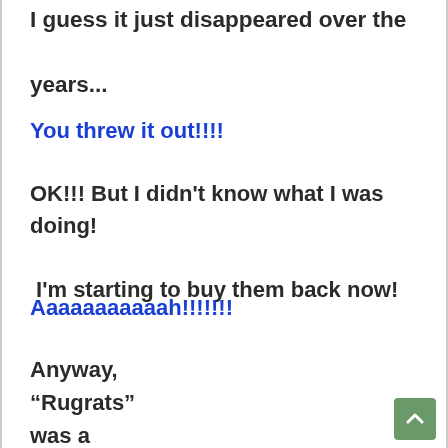I guess it just disappeared over the years...
You threw it out!!!!
OK!!! But I didn't know what I was doing! I'm starting to buy them back now!
Aaaaaaaaaaah!!!!!!!
Anyway, “Rugrats” was a show about babies and they all went on adventures led by Tommy Pickles, the bravest baby who ever lived.